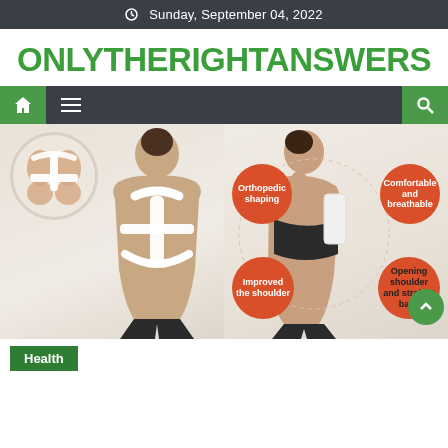Sunday, September 04, 2022
ONLYTHERIGHTANSWERS
[Figure (screenshot): Navigation bar with home icon, hamburger menu, and search icon on dark background]
[Figure (photo): Product photo showing posture corrector brace worn by two models, with feature labels: Orthopedic shaping, Comfortable and breathable, Improved the shoulder, Opening shoulder and straight back]
Health